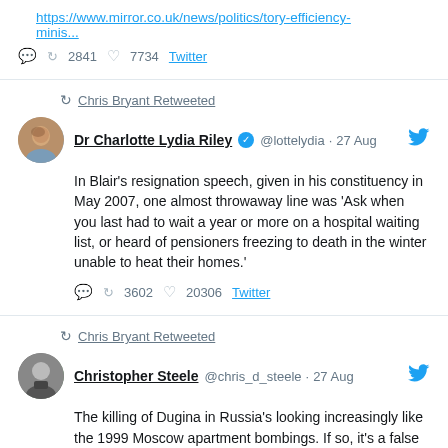https://www.mirror.co.uk/news/politics/tory-efficiency-minis...
🗨 ↩ 2841 ♡ 7734 Twitter
↩ Chris Bryant Retweeted
Dr Charlotte Lydia Riley ✓ @lottelydia · 27 Aug
In Blair's resignation speech, given in his constituency in May 2007, one almost throwaway line was 'Ask when you last had to wait a year or more on a hospital waiting list, or heard of pensioners freezing to death in the winter unable to heat their homes.'
🗨 ↩ 3602 ♡ 20306 Twitter
↩ Chris Bryant Retweeted
Christopher Steele @chris_d_steele · 27 Aug
The killing of Dugina in Russia's looking increasingly like the 1999 Moscow apartment bombings. If so, it's a false flag op by an FSB faction, blamed on Putin's